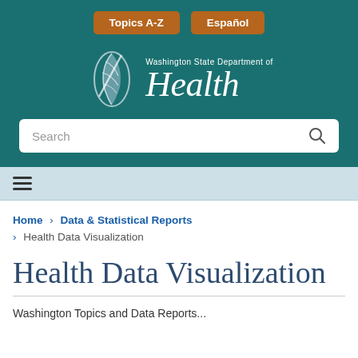Topics A-Z | Español
[Figure (logo): Washington State Department of Health logo with stylized feather/leaf mark and italic 'Health' text in white on teal background]
Search
≡ (hamburger menu icon)
Home > Data & Statistical Reports > Health Data Visualization
Health Data Visualization
Washington Topics and Data